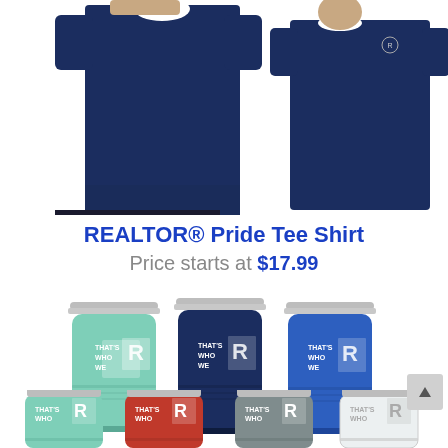[Figure (photo): Two navy blue t-shirts shown from front and back views, worn by a male model. Front view shows a person from waist up wearing a navy tee. Back view shows the rear of the same shirt.]
REALTOR® Pride Tee Shirt
Price starts at $17.99
[Figure (photo): Three insulated tumblers in mint/teal, navy, and blue colors. Each tumbler has 'THAT'S WHO WE' text and the REALTOR R logo engraved on the side.]
[Figure (photo): Four smaller insulated tumblers partially visible at the bottom in mint/teal, red, gray, and white colors with REALTOR branding.]